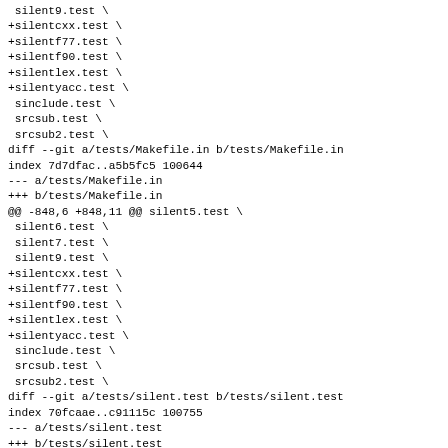silent9.test \
+silentcxx.test \
+silentf77.test \
+silentf90.test \
+silentlex.test \
+silentyacc.test \
 sinclude.test \
 srcsub.test \
 srcsub2.test \
diff --git a/tests/Makefile.in b/tests/Makefile.in
index 7d7dfac..a5b5fc5 100644
--- a/tests/Makefile.in
+++ b/tests/Makefile.in
@@ -848,6 +848,11 @@ silent5.test \
 silent6.test \
 silent7.test \
 silent9.test \
+silentcxx.test \
+silentf77.test \
+silentf90.test \
+silentlex.test \
+silentyacc.test \
 sinclude.test \
 srcsub.test \
 srcsub2.test \
diff --git a/tests/silent.test b/tests/silent.test
index 70fcaae..c91115c 100755
--- a/tests/silent.test
+++ b/tests/silent.test
@@ -1,5 +1,5 @@
 #!/bin/sh